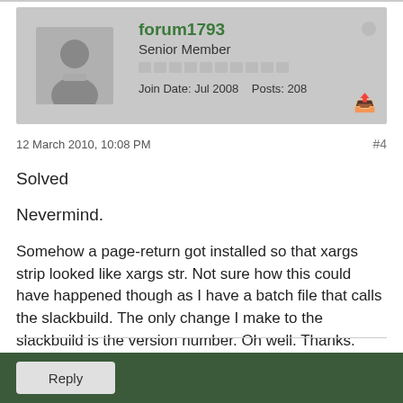[Figure (other): User profile card with avatar silhouette, username forum1793, Senior Member, join date Jul 2008, 208 posts]
12 March 2010, 10:08 PM   #4
Solved
Nevermind.
Somehow a page-return got installed so that xargs strip looked like xargs str. Not sure how this could have happened though as I have a batch file that calls the slackbuild. The only change I make to the slackbuild is the version number. Oh well. Thanks.